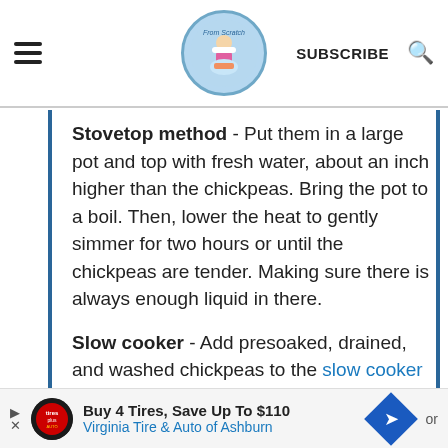From Abash - SUBSCRIBE [search icon]
Stovetop method - Put them in a large pot and top with fresh water, about an inch higher than the chickpeas. Bring the pot to a boil. Then, lower the heat to gently simmer for two hours or until the chickpeas are tender. Making sure there is always enough liquid in there.
Slow cooker - Add presoaked, drained, and washed chickpeas to the slow cooker and top with cold water, making sure you have at least an inch of water above the chickpeas. Place the slow
[Figure (infographic): Advertisement banner: Buy 4 Tires, Save Up To $110 - Virginia Tire & Auto of Ashburn, with Tires Plus logo and blue direction arrow diamond icon]